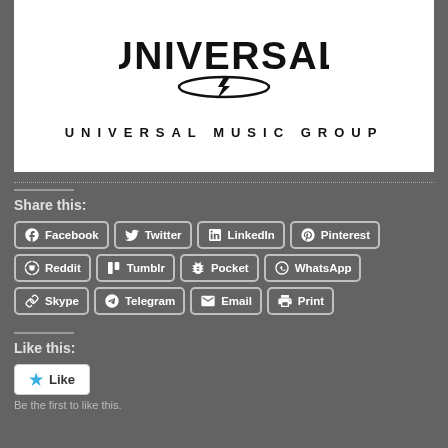[Figure (logo): Universal Music Group logo with stylized globe icon and text UNIVERSAL MUSIC GROUP]
Share this:
Facebook
Twitter
LinkedIn
Pinterest
Reddit
Tumblr
Pocket
WhatsApp
Skype
Telegram
Email
Print
Like this:
Like
Be the first to like this.